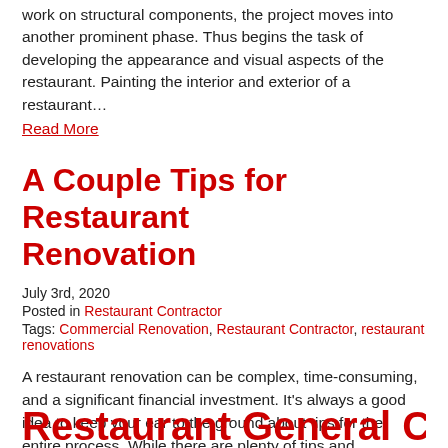work on structural components, the project moves into another prominent phase. Thus begins the task of developing the appearance and visual aspects of the restaurant. Painting the interior and exterior of a restaurant… Read More
A Couple Tips for Restaurant Renovation
July 3rd, 2020
Posted in Restaurant Contractor
Tags: Commercial Renovation, Restaurant Contractor, restaurant renovations
A restaurant renovation can be complex, time-consuming, and a significant financial investment.  It's always a good idea to keep your ear to the ground about tips for the entire process. While there are plenty of tips and considerations to ensure… Read More
Restaurant General Contractor